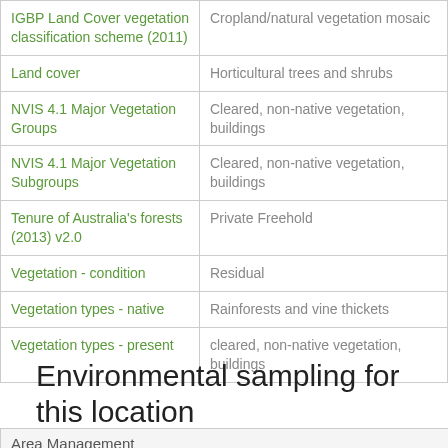| Category | Value |
| --- | --- |
| IGBP Land Cover vegetation classification scheme (2011) | Cropland/natural vegetation mosaic |
| Land cover | Horticultural trees and shrubs |
| NVIS 4.1 Major Vegetation Groups | Cleared, non-native vegetation, buildings |
| NVIS 4.1 Major Vegetation Subgroups | Cleared, non-native vegetation, buildings |
| Tenure of Australia's forests (2013) v2.0 | Private Freehold |
| Vegetation - condition | Residual |
| Vegetation types - native | Rainforests and vine thickets |
| Vegetation types - present | cleared, non-native vegetation, buildings |
Environmental sampling for this location
Area Management